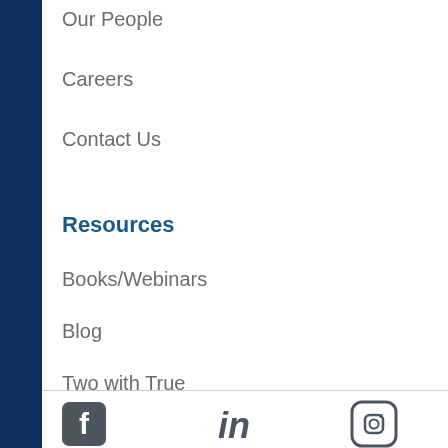Our People
Careers
Contact Us
Resources
Books/Webinars
Blog
Two with True
[Figure (illustration): Social media icons: Facebook, LinkedIn, Instagram]